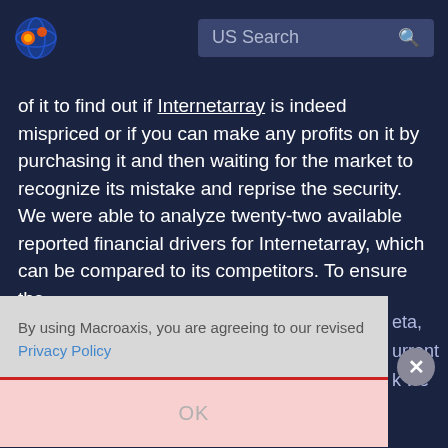[Figure (logo): Macroaxis globe logo with orange and blue colors]
US Search
of it to find out if Internetarray is indeed mispriced or if you can make any profits on it by purchasing it and then waiting for the market to recognize its mistake and reprise the security. We were able to analyze twenty-two available reported financial drivers for Internetarray, which can be compared to its competitors. To ensure the
By using Macroaxis, you are agreeing to our revised Privacy Policy
OK
eta, urrent k we
the stock experiences a normal downward fluctuation be as